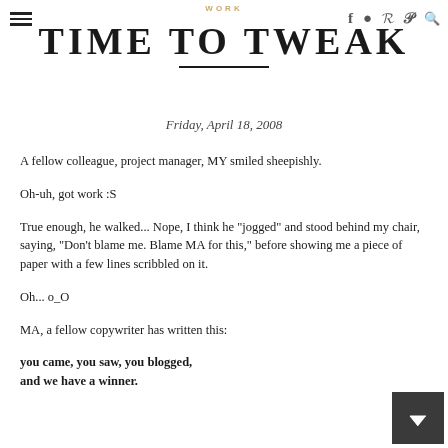WORK — TIME TO TWEAK
Friday, April 18, 2008
A fellow colleague, project manager, MY smiled sheepishly.
Oh-uh, got work :S
True enough, he walked... Nope, I think he "jogged" and stood behind my chair, saying, "Don't blame me. Blame MA for this," before showing me a piece of paper with a few lines scribbled on it.
Oh... o_O
MA, a fellow copywriter has written this:
you came, you saw, you blogged,
and we have a winner.